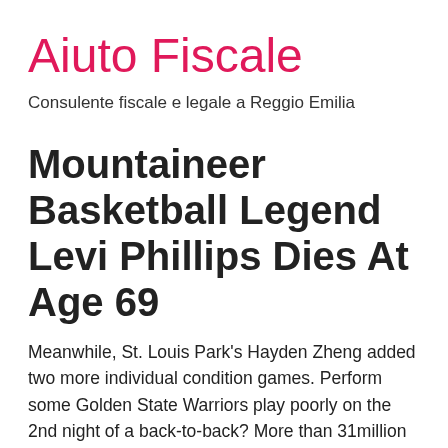Aiuto Fiscale
Consulente fiscale e legale a Reggio Emilia
Mountaineer Basketball Legend Levi Phillips Dies At Age 69
Meanwhile, St. Louis Park's Hayden Zheng added two more individual condition games. Perform some Golden State Warriors play poorly on the 2nd night of a back-to-back? More than 31million baseball followers saw the match